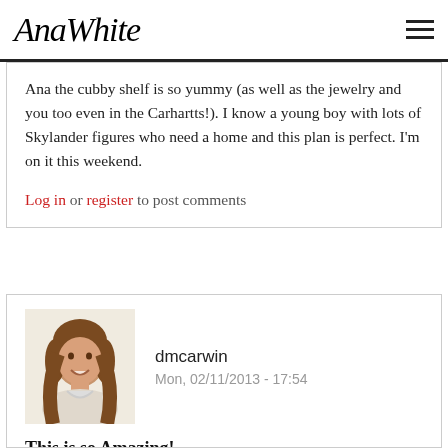AnaWhite
Ana the cubby shelf is so yummy (as well as the jewelry and you too even in the Carhartts!). I know a young boy with lots of Skylander figures who need a home and this plan is perfect. I'm on it this weekend.
Log in or register to post comments
[Figure (photo): Avatar photo of user dmcarwin - woman with brown hair smiling]
dmcarwin
Mon, 02/11/2013 - 17:54
This is so Amazing!
Great tutorial Ana, and plan! I agree with Jaime, our Skylanders would love a great looking home like this!
And I am heading over to check out the beautiful jewelry!